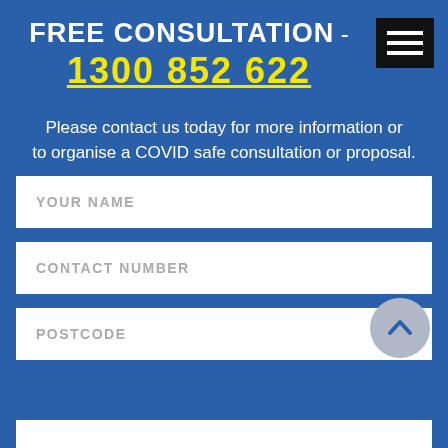FREE CONSULTATION - 1300 852 622
Please contact us today for more information or to organise a COVID safe consultation or proposal.
[Figure (other): Hamburger menu icon button - three horizontal white bars on black background]
YOUR NAME
CONTACT NUMBER
POSTCODE